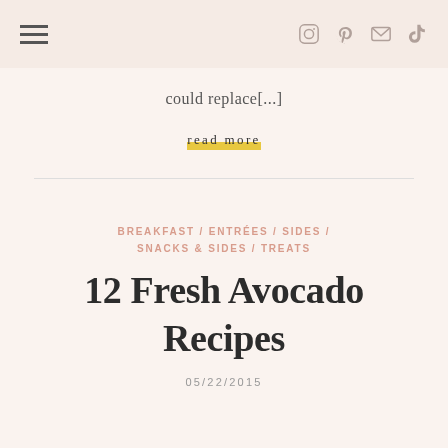Navigation and social icons header
could replace[...]
read more
BREAKFAST / ENTRÉES / SIDES / SNACKS & SIDES / TREATS
12 Fresh Avocado Recipes
05/22/2015